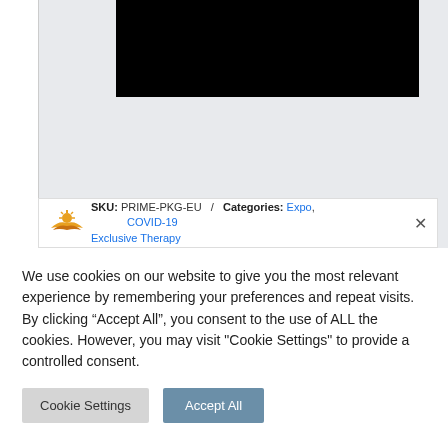[Figure (screenshot): Website product page screenshot showing a black image/video area at the top, with a light gray background. Below the black area is a white SKU bar showing 'SKU: PRIME-PKG-EU / Categories: Expo, COVID-19' with a logo and close button, partially overlaid by a cookie consent dialog.]
SKU: PRIME-PKG-EU / Categories: Expo, COVID-19 Exclusive Therapy
We use cookies on our website to give you the most relevant experience by remembering your preferences and repeat visits. By clicking "Accept All", you consent to the use of ALL the cookies. However, you may visit "Cookie Settings" to provide a controlled consent.
Cookie Settings  Accept All